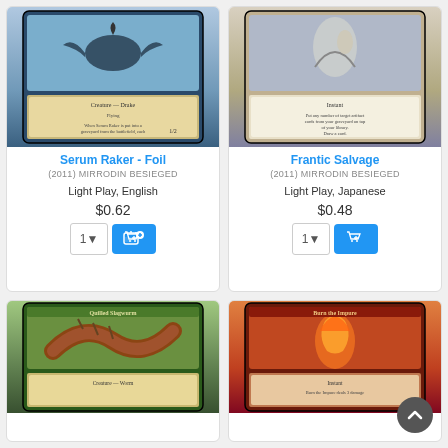[Figure (illustration): Magic: The Gathering card - Serum Raker (blue drake creature card, Mirrodin Besieged 2011)]
Serum Raker - Foil
(2011) MIRRODIN BESIEGED
Light Play, English
$0.62
[Figure (illustration): Magic: The Gathering card - Frantic Salvage (white instant card, Mirrodin Besieged 2011)]
Frantic Salvage
(2011) MIRRODIN BESIEGED
Light Play, Japanese
$0.48
[Figure (illustration): Magic: The Gathering card - Quilled Slagwurm (green creature worm card, Mirrodin Besieged 2011)]
[Figure (illustration): Magic: The Gathering card - Burn the Impure (red instant card, Mirrodin Besieged 2011)]